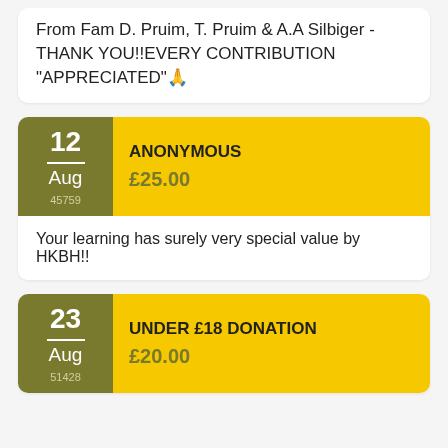From Fam D. Pruim, T. Pruim & A.A Silbiger - THANK YOU!!EVERY CONTRIBUTION "APPRECIATED"🙏
ANONYMOUS
£25.00
Your learning has surely very special value by HKBH!!
UNDER £18 DONATION
£20.00